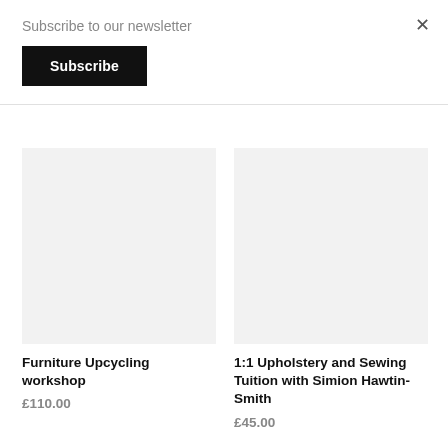Subscribe to our newsletter
Subscribe
×
[Figure (photo): Empty light grey placeholder image for Furniture Upcycling workshop product]
Furniture Upcycling workshop
£110.00
[Figure (photo): Empty light grey placeholder image for 1:1 Upholstery and Sewing Tuition with Simion Hawtin-Smith product]
1:1 Upholstery and Sewing Tuition with Simion Hawtin-Smith
£45.00